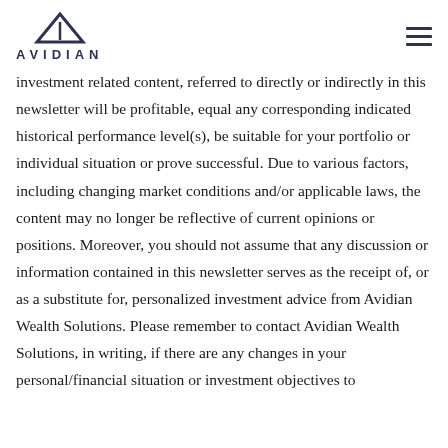AVIDIAN
investment related content, referred to directly or indirectly in this newsletter will be profitable, equal any corresponding indicated historical performance level(s), be suitable for your portfolio or individual situation or prove successful. Due to various factors, including changing market conditions and/or applicable laws, the content may no longer be reflective of current opinions or positions. Moreover, you should not assume that any discussion or information contained in this newsletter serves as the receipt of, or as a substitute for, personalized investment advice from Avidian Wealth Solutions. Please remember to contact Avidian Wealth Solutions, in writing, if there are any changes in your personal/financial situation or investment objectives to